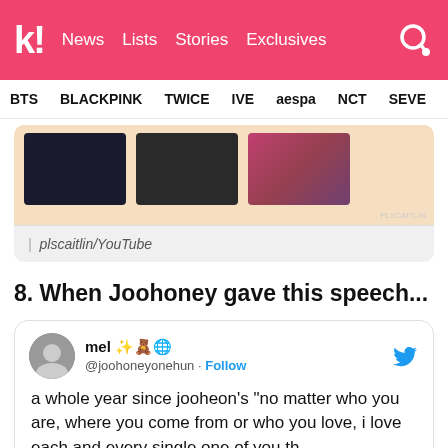k! News  Lists  Stories  Exclusives
BTS  BLACKPINK  TWICE  IVE  aespa  NCT  SEVE
[Figure (screenshot): Partial view of three YouTube video thumbnails on a light orange/peach background with watermark plscaitlin]
| plscaitlin/YouTube
8. When Joohoney gave this speech...
[Figure (screenshot): Tweet from mel @joohoneyonehun with Twitter Follow button and text: a whole year since jooheon's "no matter who you are, where you come from or who you love, i love each and every single one of you the..."]